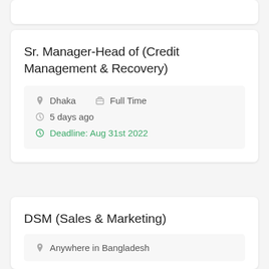Sr. Manager-Head of (Credit Management & Recovery)
Dhaka   Full Time   5 days ago   Deadline: Aug 31st 2022
DSM (Sales & Marketing)
Anywhere in Bangladesh